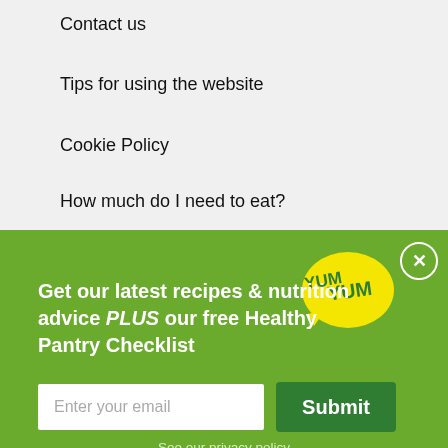Contact us
Tips for using the website
Cookie Policy
How much do I need to eat?
Get our latest recipes & nutrition advice PLUS our free Healthy Pantry Checklist
Enter your email
Submit
See our privacy policy